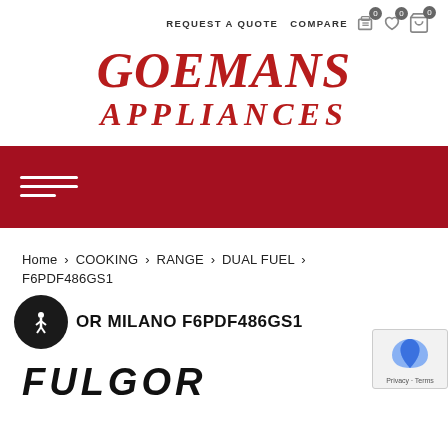REQUEST A QUOTE   COMPARE 0  0  0
GOEMANS APPLIANCES
[Figure (other): Red navigation bar with hamburger menu (three white lines)]
Home > COOKING > RANGE > DUAL FUEL > F6PDF486GS1
FULGOR MILANO F6PDF486GS1
FULGOR